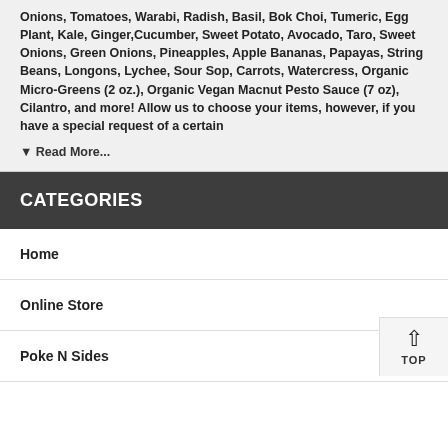Onions, Tomatoes, Warabi, Radish, Basil, Bok Choi, Tumeric, Egg Plant, Kale, Ginger, Cucumber, Sweet Potato, Avocado, Taro, Sweet Onions, Green Onions, Pineapples, Apple Bananas, Papayas, String Beans, Longons, Lychee, Sour Sop, Carrots, Watercress, Organic Micro-Greens (2 oz.), Organic Vegan Macnut Pesto Sauce (7 oz), Cilantro, and more! Allow us to choose your items, however, if you have a special request of a certain
▼ Read More...
CATEGORIES
Home
Online Store
Poke N Sides